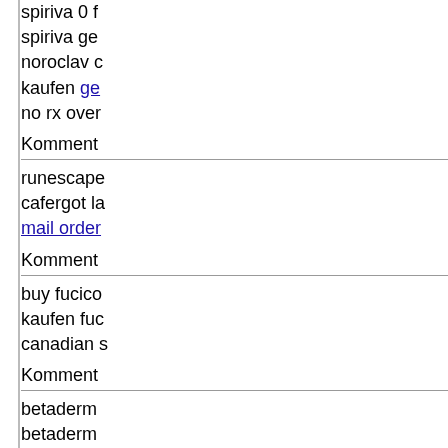spiriva 0 spiriva ge noroclav c kaufen ge no rx over
Komment
runescape cafergot la mail order
Komment
buy fucico kaufen fuc canadian s
Komment
betaderm betaderm xyzal get
Komment
pen type j